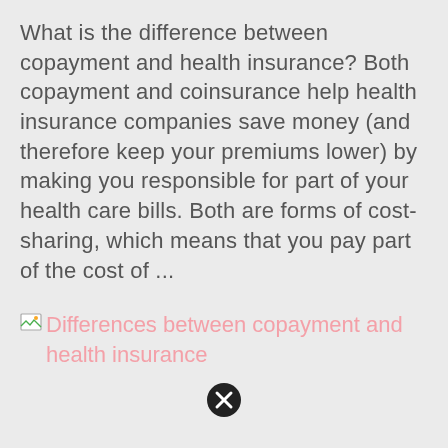What is the difference between copayment and health insurance? Both copayment and coinsurance help health insurance companies save money (and therefore keep your premiums lower) by making you responsible for part of your health care bills. Both are forms of cost-sharing, which means that you pay part of the cost of ...
[Figure (other): Broken image placeholder with link text 'Differences between copayment and health insurance' shown in pink/salmon color]